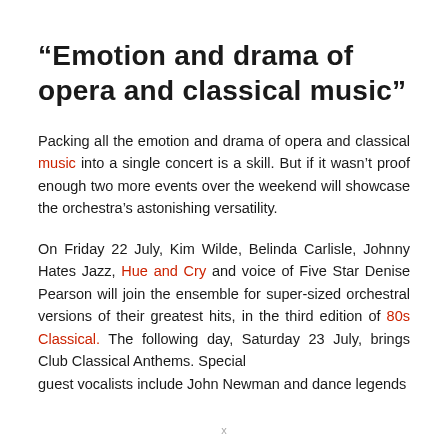“Emotion and drama of opera and classical music”
Packing all the emotion and drama of opera and classical music into a single concert is a skill. But if it wasn’t proof enough two more events over the weekend will showcase the orchestra’s astonishing versatility.
On Friday 22 July, Kim Wilde, Belinda Carlisle, Johnny Hates Jazz, Hue and Cry and voice of Five Star Denise Pearson will join the ensemble for super-sized orchestral versions of their greatest hits, in the third edition of 80s Classical. The following day, Saturday 23 July, brings Club Classical Anthems. Special guest vocalists include John Newman and dance legends Ultra...
x